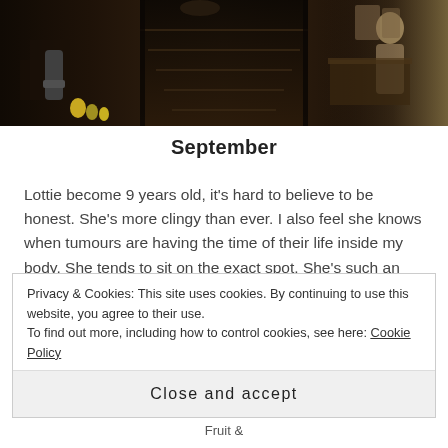[Figure (photo): Indoor photo of a dark wooden staircase interior, possibly a bar or pub, with wooden furniture, decorative items in yellow/green on the left side, and a person visible on the right side near what appears to be a bar counter.]
September
Lottie become 9 years old, it's hard to believe to be honest. She's more clingy than ever. I also feel she knows when tumours are having the time of their life inside my body. She tends to sit on the exact spot. She's such an intelligent dog and I can't fault her. She's
Privacy & Cookies: This site uses cookies. By continuing to use this website, you agree to their use.
To find out more, including how to control cookies, see here: Cookie Policy
Close and accept
Fruit &